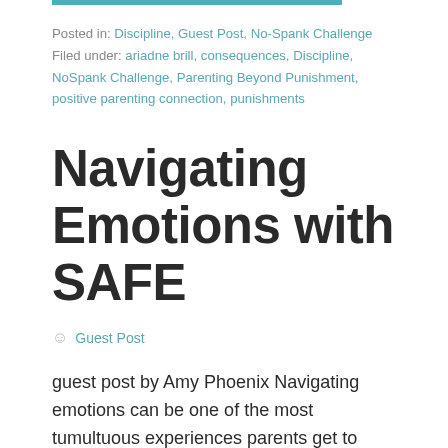Posted in: Discipline, Guest Post, No-Spank Challenge
Filed under: ariadne brill, consequences, Discipline, NoSpank Challenge, Parenting Beyond Punishment, positive parenting connection, punishments
Navigating Emotions with SAFE
Guest Post
guest post by Amy Phoenix Navigating emotions can be one of the most tumultuous experiences parents get to deal with.